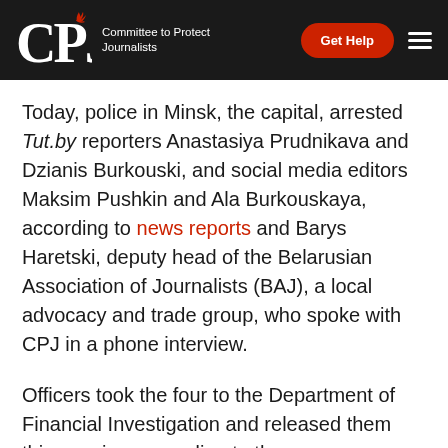CPJ — Committee to Protect Journalists | Get Help
Today, police in Minsk, the capital, arrested Tut.by reporters Anastasiya Prudnikava and Dzianis Burkouski, and social media editors Maksim Pushkin and Ala Burkouskaya, according to news reports and Barys Haretski, deputy head of the Belarusian Association of Journalists (BAJ), a local advocacy and trade group, who spoke with CPJ in a phone interview.
Officers took the four to the Department of Financial Investigation and released them this evening, according to those sources.